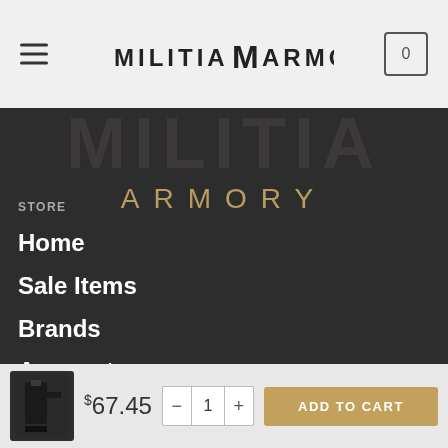[Figure (logo): Militia Armory logo with hamburger menu on left and cart icon on right in a light gray header bar]
[Figure (illustration): Dark background panel with 'MILITIA' watermark text faded in gray and 'ARMORY' in gold/tan letters below]
STORE
Home
Sale Items
Brands
Account
Returns
FFL Instructions
[Figure (photo): Small product thumbnail image of a dark firearm accessory/magazine]
$67.45
- 1 +
ADD TO CART